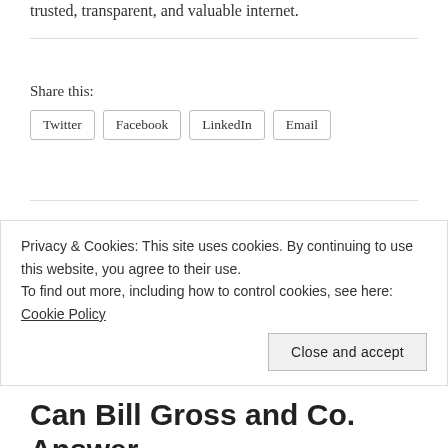trusted, transparent, and valuable internet.
Share this:
Twitter    Facebook    LinkedIn    Email
John Battelle / October 31, 2006 / Of Note in Search Biz /
Privacy & Cookies: This site uses cookies. By continuing to use this website, you agree to their use.
To find out more, including how to control cookies, see here: Cookie Policy
Close and accept
Can Bill Gross and Co. Answer